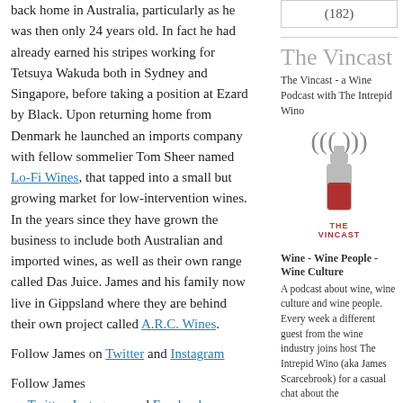back home in Australia, particularly as he was then only 24 years old. In fact he had already earned his stripes working for Tetsuya Wakuda both in Sydney and Singapore, before taking a position at Ezard by Black. Upon returning home from Denmark he launched an imports company with fellow sommelier Tom Sheer named Lo-Fi Wines, that tapped into a small but growing market for low-intervention wines. In the years since they have grown the business to include both Australian and imported wines, as well as their own range called Das Juice. James and his family now live in Gippsland where they are behind their own project called A.R.C. Wines.
Follow James on Twitter and Instagram
Follow James on Twitter, Instagram and Facebook
(182)
The Vincast
The Vincast - a Wine Podcast with The Intrepid Wino
[Figure (logo): The Vincast logo: a wine bottle with radio signal waves and THE VINCAST text below]
Wine - Wine People - Wine Culture
A podcast about wine, wine culture and wine people. Every week a different guest from the wine industry joins host The Intrepid Wino (aka James Scarcebrook) for a casual chat about the